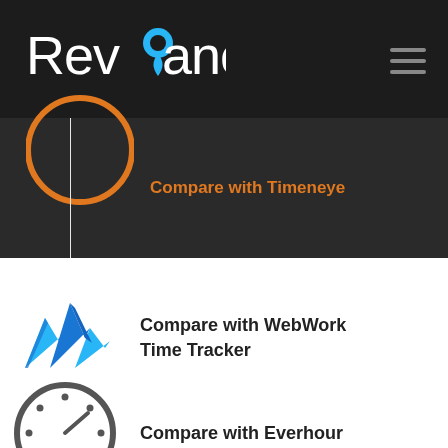[Figure (logo): Revvano logo with map pin icon in blue, white text on dark background]
[Figure (illustration): Hamburger menu icon (three horizontal lines) in gray on dark background]
Compare with Timeneye
[Figure (logo): Orange circle outline with a clock face inside - Timeneye logo]
Compare with WebWork Time Tracker
[Figure (logo): Blue stylized M/mountains chart logo - WebWork Time Tracker]
Compare with Everhour
[Figure (logo): Dark gray circular speedometer/dashboard icon - Everhour logo]
[Figure (logo): Partial colorful circular pie chart logo at bottom - partially visible]